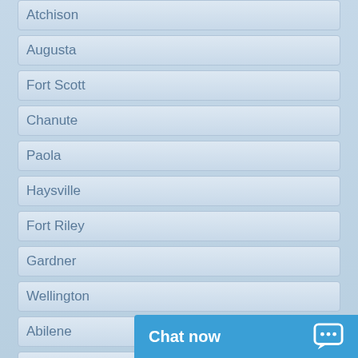Atchison
Augusta
Fort Scott
Chanute
Paola
Haysville
Fort Riley
Gardner
Wellington
Abilene
Bonner Springs
Lansing
Andover
Iola
Chat now